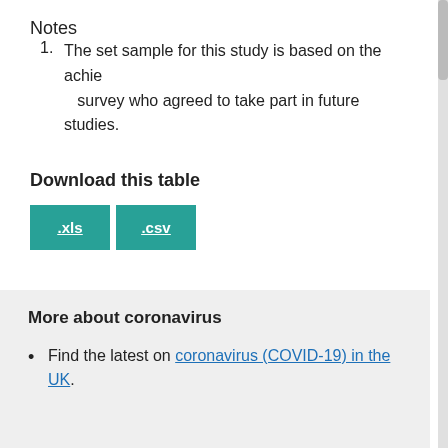Notes
The set sample for this study is based on the achie survey who agreed to take part in future studies.
Download this table
[Figure (other): Two green download buttons labeled .xls and .csv]
More about coronavirus
Find the latest on coronavirus (COVID-19) in the UK.